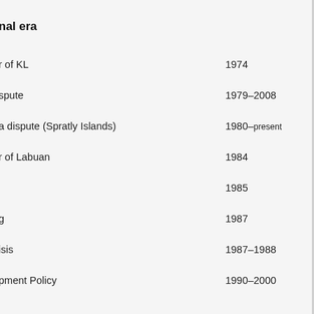nal era
| Event | Year |
| --- | --- |
| r of KL | 1974 |
| spute | 1979–2008 |
| a dispute (Spratly Islands) | 1980–present |
| r of Labuan | 1984 |
|  | 1985 |
| g | 1987 |
| isis | 1987–1988 |
| pment Policy | 1990–2000 |